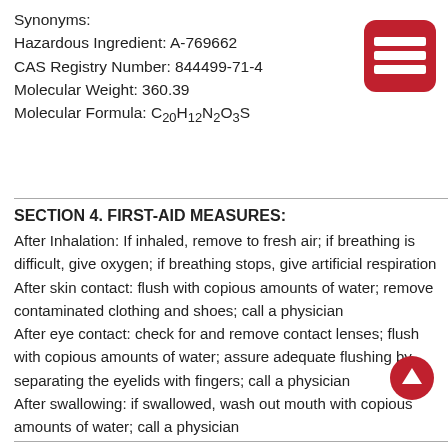Synonyms:
Hazardous Ingredient: A-769662
CAS Registry Number: 844499-71-4
Molecular Weight: 360.39
Molecular Formula: C20H12N2O3S
[Figure (logo): Red rounded rectangle icon with three horizontal white lines (hamburger menu icon)]
SECTION 4. FIRST-AID MEASURES:
After Inhalation: If inhaled, remove to fresh air; if breathing is difficult, give oxygen; if breathing stops, give artificial respiration
After skin contact: flush with copious amounts of water; remove contaminated clothing and shoes; call a physician
After eye contact: check for and remove contact lenses; flush with copious amounts of water; assure adequate flushing by separating the eyelids with fingers; call a physician
After swallowing: if swallowed, wash out mouth with copious amounts of water; call a physician